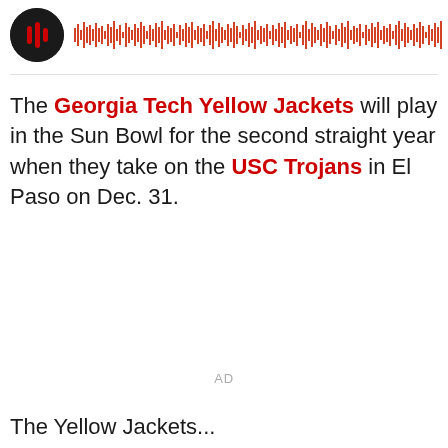[Figure (other): Podcast player bar with circular dark icon and waveform/progress bar]
The Georgia Tech Yellow Jackets will play in the Sun Bowl for the second straight year when they take on the USC Trojans in El Paso on Dec. 31.
AD
The Yellow Jackets...